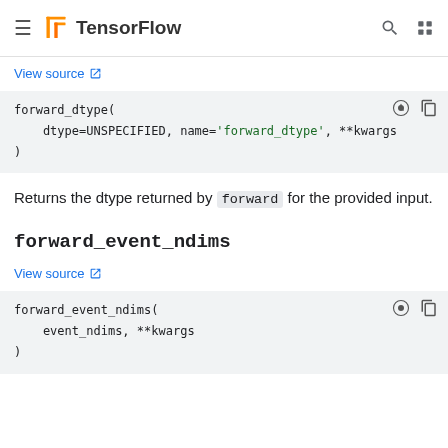TensorFlow
View source
[Figure (screenshot): Code block showing forward_dtype( dtype=UNSPECIFIED, name='forward_dtype', **kwargs )]
Returns the dtype returned by forward for the provided input.
forward_event_ndims
View source
[Figure (screenshot): Code block showing forward_event_ndims( event_ndims, **kwargs )]